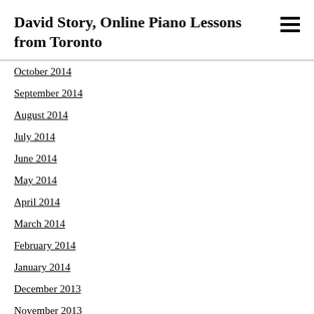David Story, Online Piano Lessons from Toronto
October 2014
September 2014
August 2014
July 2014
June 2014
May 2014
April 2014
March 2014
February 2014
January 2014
December 2013
November 2013
October 2013
September 2013
August 2013
July 2013